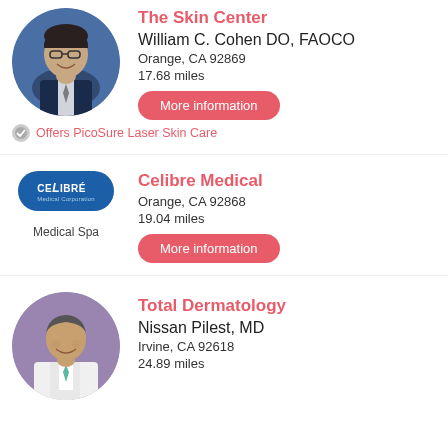[Figure (photo): Headshot photo of William C. Cohen DO, FAOCO in a circular frame, man in suit with glasses smiling]
The Skin Center
William C. Cohen DO, FAOCO
Orange, CA 92869
17.68 miles
More information
Offers PicoSure Laser Skin Care
[Figure (logo): Celibre Medical Corporation logo - blue pill-shaped badge with CELIBRE Medical Corporation text]
Medical Spa
Celibre Medical
Orange, CA 92868
19.04 miles
More information
[Figure (photo): Headshot photo of Nissan Pilest, MD in a circular frame, older man in white coat smiling]
Total Dermatology
Nissan Pilest, MD
Irvine, CA 92618
24.89 miles